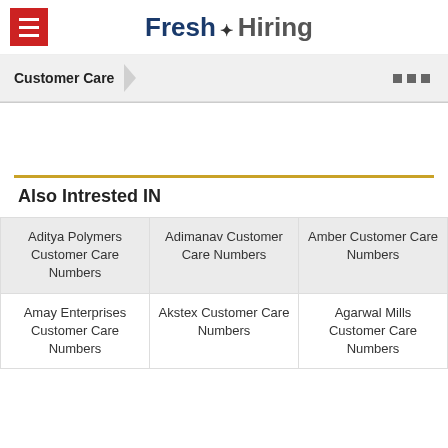Fresh Hiring
Customer Care
Also Intrested IN
| Aditya Polymers Customer Care Numbers | Adimanav Customer Care Numbers | Amber Customer Care Numbers |
| Amay Enterprises Customer Care Numbers | Akstex Customer Care Numbers | Agarwal Mills Customer Care Numbers |